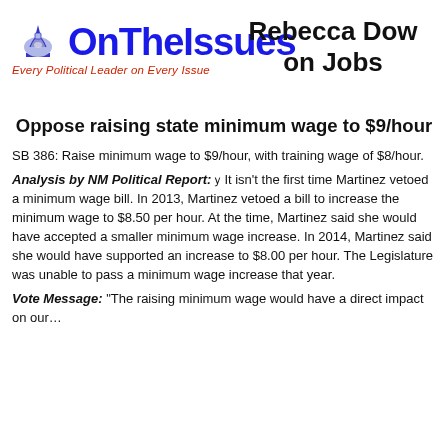[Figure (logo): OnTheIssues logo with dome graphic and tagline 'Every Political Leader on Every Issue']
Rebecca Dow on Jobs
Oppose raising state minimum wage to $9/hour
SB 386: Raise minimum wage to $9/hour, with training wage of $8/hour.
Analysis by NM Political Report: It isn't the first time Martinez vetoed a minimum wage bill. In 2013, Martinez vetoed a bill to increase the minimum wage to $8.50 per hour. At the time, Martinez said she would have accepted a smaller minimum wage increase. In 2014, Martinez said she would have supported an increase to $8.00 per hour. The Legislature was unable to pass a minimum wage increase that year.